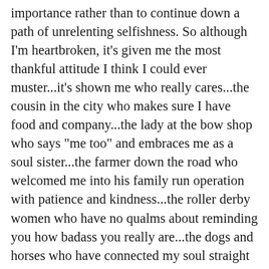importance rather than to continue down a path of unrelenting selfishness. So although I'm heartbroken, it's given me the most thankful attitude I think I could ever muster...it's shown me who really cares...the cousin in the city who makes sure I have food and company...the lady at the bow shop who says "me too" and embraces me as a soul sister...the farmer down the road who welcomed me into his family run operation with patience and kindness...the roller derby women who have no qualms about reminding you how badass you really are...the dogs and horses who have connected my soul straight back to nature...the horse ladies, who have never judged the pain or insecurity within my journey...the movers who never questioned my life, but instead showed love and compassion during a time of self loss...a new friend who